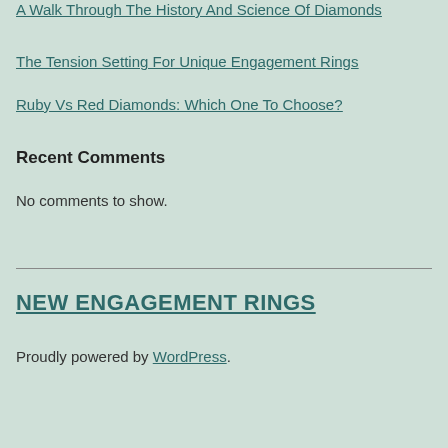A Walk Through The History And Science Of Diamonds
The Tension Setting For Unique Engagement Rings
Ruby Vs Red Diamonds: Which One To Choose?
Recent Comments
No comments to show.
NEW ENGAGEMENT RINGS
Proudly powered by WordPress.